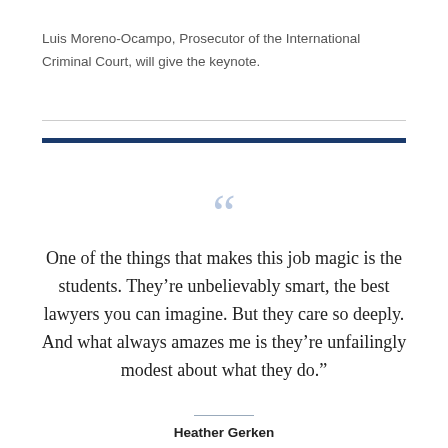Luis Moreno-Ocampo, Prosecutor of the International Criminal Court, will give the keynote.
One of the things that makes this job magic is the students. They’re unbelievably smart, the best lawyers you can imagine. But they care so deeply. And what always amazes me is they’re unfailingly modest about what they do.”
Heather Gerken